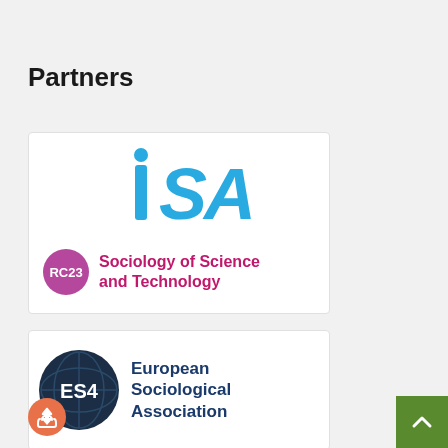Partners
[Figure (logo): ISA (International Sociological Association) logo with blue stylized letters 'iSA' and below a magenta circle badge labeled RC23 with text 'Sociology of Science and Technology']
[Figure (logo): ESA (European Sociological Association) logo: dark navy circular globe emblem with letters 'ES4' in white, accompanied by bold dark blue text reading 'European Sociological Association']